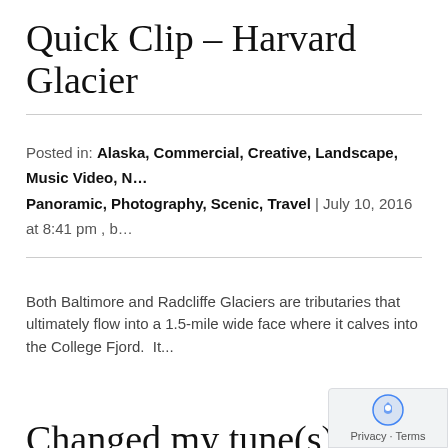Quick Clip – Harvard Glacier
Posted in: Alaska, Commercial, Creative, Landscape, Music Video, N…, Panoramic, Photography, Scenic, Travel | July 10, 2016 at 8:41 pm , b…
Both Baltimore and Radcliffe Glaciers are tributaries that ultimately flow into a 1.5-mile wide face where it calves into the College Fjord.  It...
Changed my tune(s)…
Posted in: Alaska, Birds, Commercial, Creative, Landscape, Music Video…, Panoramic, Photography, Scenic, Travel | July 4, 2016 at 6:32 pm , by…